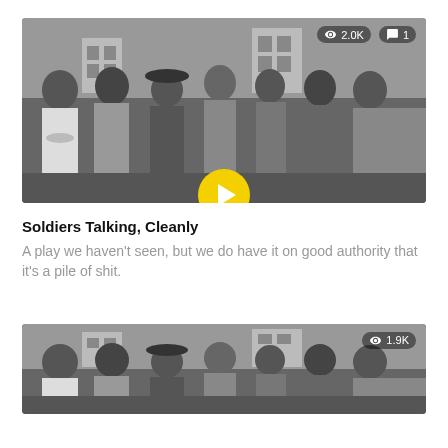[Figure (photo): Black and white group photo of six men standing outdoors in front of a brick building. The image has a yellow play button icon overlaid at the bottom center. Top right shows eye icon with '2.0K' and speech bubble icon with '1'.]
Soldiers Talking, Cleanly
A play we haven't seen, but we do have it on good authority that it's a pile of shit.
[Figure (photo): Black and white group photo identical in style to the first, showing the same six men. Top right shows eye icon with '1.9K'. Image is cropped showing only the upper portion.]